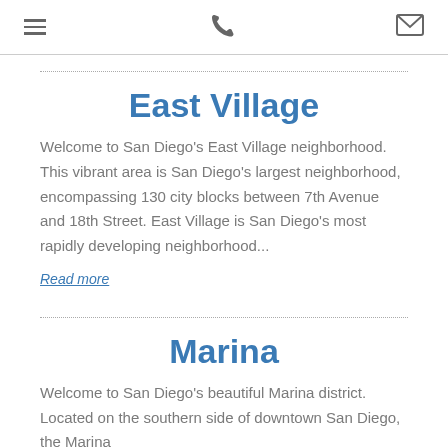[hamburger menu] [phone icon] [mail icon]
East Village
Welcome to San Diego's East Village neighborhood. This vibrant area is San Diego's largest neighborhood, encompassing 130 city blocks between 7th Avenue and 18th Street. East Village is San Diego's most rapidly developing neighborhood...
Read more
Marina
Welcome to San Diego's beautiful Marina district. Located on the southern side of downtown San Diego, the Marina...